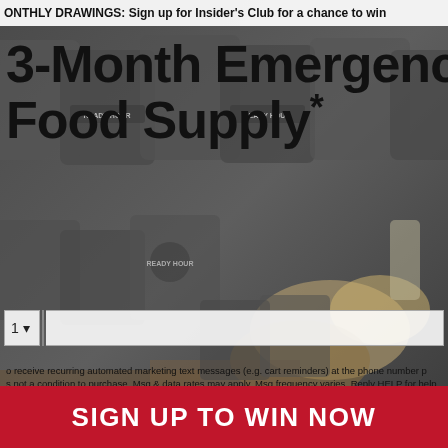MONTHLY DRAWINGS: Sign up for Insider's Club for a chance to win
3-Month Emergency Food Supply*
[Figure (photo): Background photo of Ready Hour emergency food supply buckets and prepared food dishes]
o receive recurring automated marketing text messages (e.g. cart reminders) at the phone number p... is not a condition to purchase. Msg & data rates may apply. Msg frequency varies. Reply HELP for help... ancel. View our Terms of Service and Privacy Policy. See MyPatriotSupply.com/3-month-sweepstakes fo...
SIGN UP TO WIN NOW